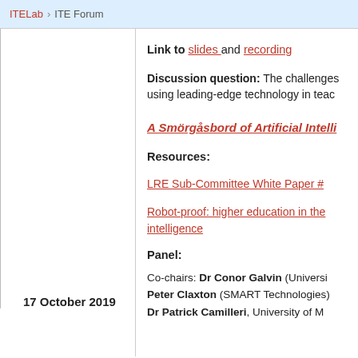ITELab · ITE Forum
17 October 2019
Link to slides and recording
Discussion question: The challenges of using leading-edge technology in teac…
A Smörgåsbord of Artificial Intelli…
Resources:
LRE Sub-Committee White Paper #…
Robot-proof: higher education in the… intelligence
Panel:
Co-chairs: Dr Conor Galvin (Universi…)
Peter Claxton (SMART Technologies)
Dr Patrick Camilleri, University of M…